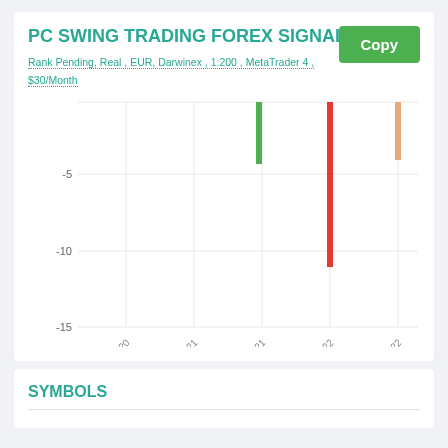PC SWING TRADING FOREX SIGNALS
Rank Pending, Real , EUR, Darwinex , 1:200 , MetaTrader 4 , $30/Month
[Figure (bar-chart): Equity chart Jul 2020 - Jul 2022]
SYMBOLS